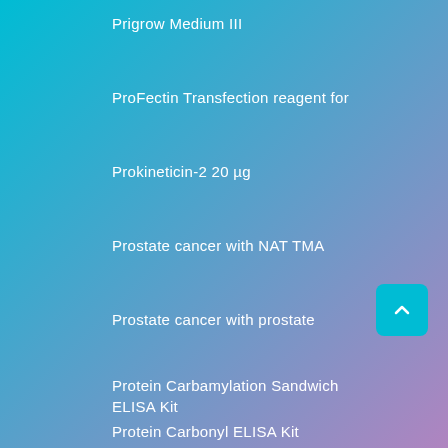Prigrow Medium III
ProFectin Transfection reagent for
Prokineticin-2 20 µg
Prostate cancer with NAT TMA
Prostate cancer with prostate
Protein Carbamylation Sandwich ELISA Kit
Protein Carbonyl ELISA Kit